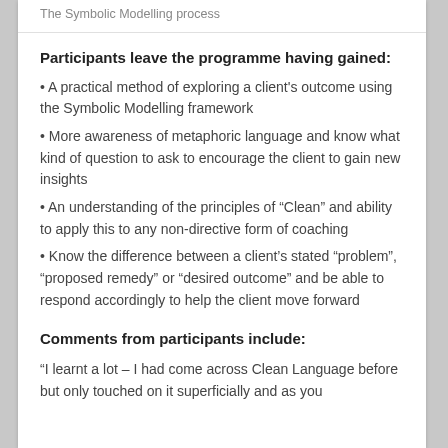The Symbolic Modelling process
Participants leave the programme having gained:
• A practical method of exploring a client's outcome using the Symbolic Modelling framework
• More awareness of metaphoric language and know what kind of question to ask to encourage the client to gain new insights
• An understanding of the principles of "Clean" and ability to apply this to any non-directive form of coaching
• Know the difference between a client's stated "problem", "proposed remedy" or "desired outcome" and be able to respond accordingly to help the client move forward
Comments from participants include:
“I learnt a lot – I had come across Clean Language before but only touched on it superficially and as you